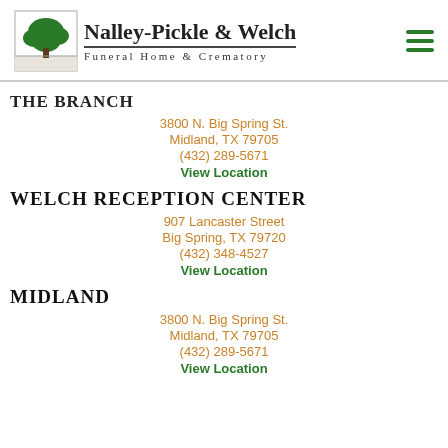[Figure (logo): Nalley-Pickle & Welch Funeral Home & Crematory logo with green tree in a square frame, brand name in serif font, subtitle in spaced caps, and a hamburger menu icon in green on the right]
THE BRANCH
3800 N. Big Spring St.
Midland, TX 79705
(432) 289-5671
View Location
WELCH RECEPTION CENTER
907 Lancaster Street
Big Spring, TX 79720
(432) 348-4527
View Location
MIDLAND
3800 N. Big Spring St.
Midland, TX 79705
(432) 289-5671
View Location